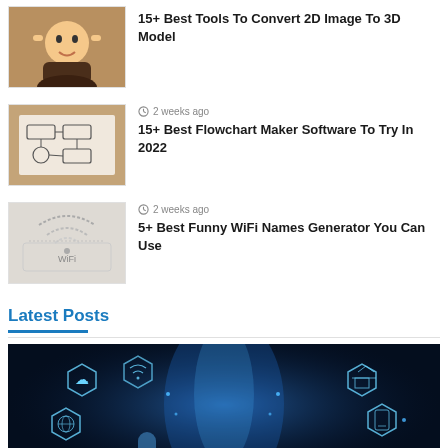[Figure (photo): Cartoon 3D character with hands on head, looking surprised]
15+ Best Tools To Convert 2D Image To 3D Model
[Figure (photo): Hands drawing flowchart on paper on a wooden desk]
2 weeks ago
15+ Best Flowchart Maker Software To Try In 2022
[Figure (photo): WiFi symbol sketch drawn on white paper]
2 weeks ago
5+ Best Funny WiFi Names Generator You Can Use
Latest Posts
[Figure (photo): Digital banking concept with hexagonal icons for cloud, globe, WiFi, bank building, phone, and a hand touching a glowing BANKING button]